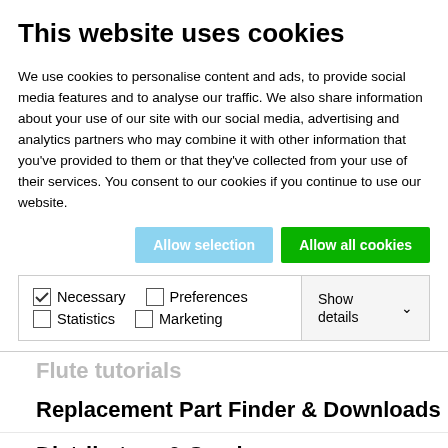This website uses cookies
We use cookies to personalise content and ads, to provide social media features and to analyse our traffic. We also share information about your use of our site with our social media, advertising and analytics partners who may combine it with other information that you've provided to them or that they've collected from your use of their services. You consent to our cookies if you continue to use our website.
Allow selection | Allow all cookies
✓ Necessary  □ Preferences  □ Statistics  □ Marketing  Show details ∨
Flute Tutorials
Replacement Part Finder & Downloads
Distributors & Service
Safety & Quality
International Service Points
Repair & Submission